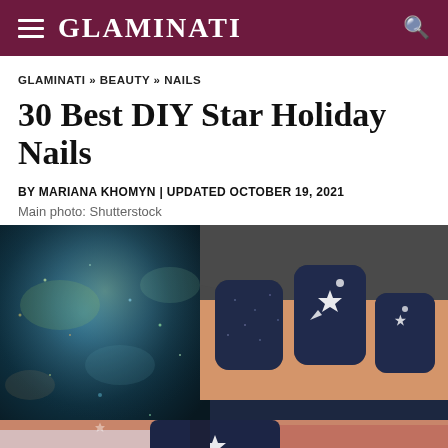GLAMINATI
GLAMINATI » BEAUTY » NAILS
30 Best DIY Star Holiday Nails
BY MARIANA KHOMYN | UPDATED OCTOBER 19, 2021
Main photo: Shutterstock
[Figure (photo): Close-up photo of dark navy glitter nails with white shooting star and star designs, next to a holographic glitter nail polish bottle. Lower portion shows more nails with a white shooting star design on a glittery star-patterned background.]